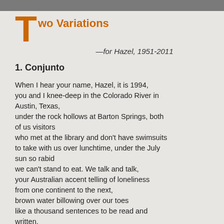Two Variations
—for Hazel, 1951-2011
1. Conjunto
When I hear your name, Hazel, it is 1994,
you and I knee-deep in the Colorado River in Austin, Texas,
under the rock hollows at Barton Springs, both of us visitors
who met at the library and don't have swimsuits to take with us over lunchtime, under the July sun so rabid
we can't stand to eat. We talk and talk,
your Australian accent telling of loneliness from one continent to the next,
brown water billowing over our toes
like a thousand sentences to be read and written.
At evening, you drive us in your landlords'